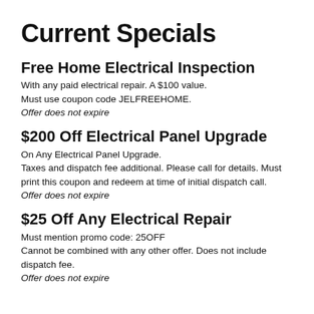Current Specials
Free Home Electrical Inspection
With any paid electrical repair. A $100 value.
Must use coupon code JELFREEHOME.
Offer does not expire
$200 Off Electrical Panel Upgrade
On Any Electrical Panel Upgrade.
Taxes and dispatch fee additional. Please call for details. Must print this coupon and redeem at time of initial dispatch call.
Offer does not expire
$25 Off Any Electrical Repair
Must mention promo code: 25OFF
Cannot be combined with any other offer. Does not include dispatch fee.
Offer does not expire